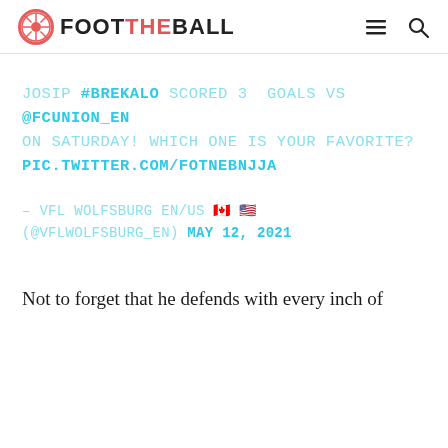FOOT THE BALL
JOSIP #BREKALO SCORED 3 GOALS VS @FCUNION_EN ON SATURDAY! WHICH ONE IS YOUR FAVORITE? PIC.TWITTER.COM/FOTNEBNJJA
– VFL WOLFSBURG EN/US 🇨🇦 🇺🇸 (@VFLWOLFSBURG_EN) MAY 12, 2021
Not to forget that he defends with every inch of